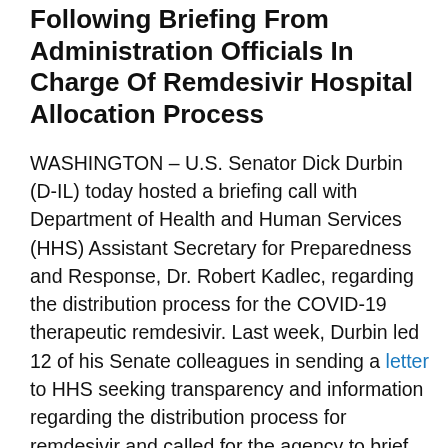Following Briefing From Administration Officials In Charge Of Remdesivir Hospital Allocation Process
WASHINGTON – U.S. Senator Dick Durbin (D-IL) today hosted a briefing call with Department of Health and Human Services (HHS) Assistant Secretary for Preparedness and Response, Dr. Robert Kadlec, regarding the distribution process for the COVID-19 therapeutic remdesivir. Last week, Durbin led 12 of his Senate colleagues in sending a letter to HHS seeking transparency and information regarding the distribution process for remdesivir and called for the agency to brief them on the allocation process.   On today's call, Durbin cited significant concerns raised by states, hospitals, health providers, and patients regarding the opaque process under which the federal government is determining distribution of remdesivir, as well as the future supply to meet patient needs.  During the call, Durbin received an update that Illinois will have received a total of more than 27,000 vials from HHS over the last week